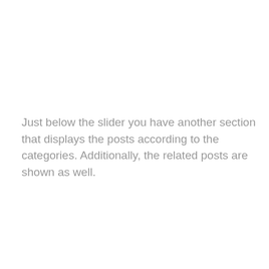Just below the slider you have another section that displays the posts according to the categories. Additionally, the related posts are shown as well.